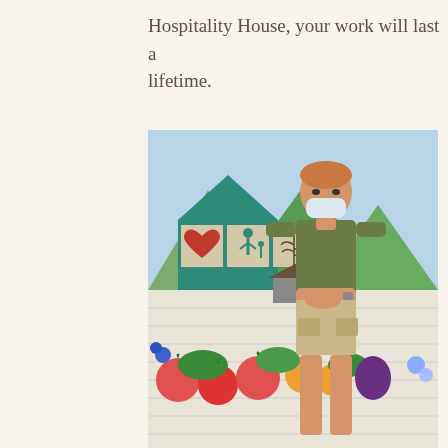Hospitality House, your work will last a lifetime.
[Figure (photo): A young man wearing a face mask and olive green t-shirt with khaki cargo shorts stands in front of a colorful mural on a cinder block wall. The mural depicts a house with symbols of a heart, a family figure, and a plant/fern leaf, surrounded by mountains, vegetables, tomatoes, oranges, and flowers in vibrant colors.]